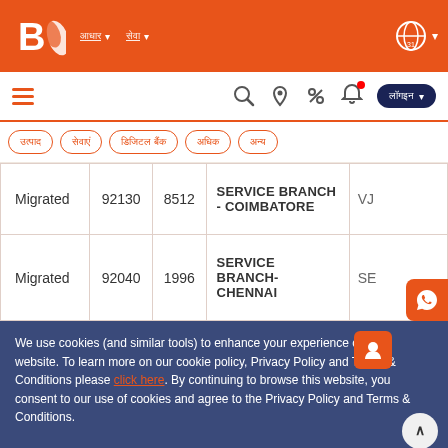[Figure (screenshot): Bank of Baroda website header with orange background, logo, navigation items in Hindi script, and globe/language icon]
[Figure (screenshot): Secondary navigation bar with hamburger menu, search, location, percent, bell notification icons, and login button with Hindi text]
[Figure (screenshot): Pill-shaped navigation tabs with Hindi text labels: products, services, digital banking, more options, another option]
| Status | Code1 | Code2 | Branch Name | Short |
| --- | --- | --- | --- | --- |
| Migrated | 92130 | 8512 | SERVICE BRANCH - COIMBATORE | VJ |
| Migrated | 92040 | 1996 | SERVICE BRANCH- CHENNAI | SE |
We use cookies (and similar tools) to enhance your experience on our website. To learn more on our cookie policy, Privacy Policy and Terms & Conditions please click here. By continuing to browse this website, you consent to our use of cookies and agree to the Privacy Policy and Terms & Conditions.